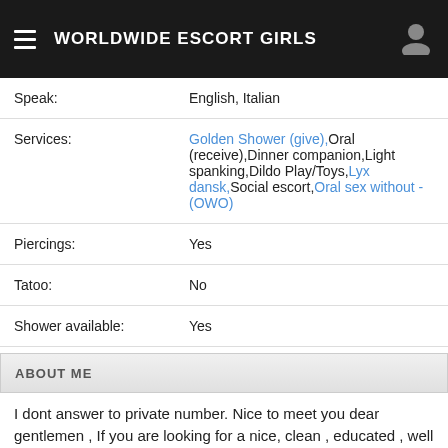WORLDWIDE ESCORT GIRLS
| Speak: | English, Italian |
| Services: | Golden Shower (give),Oral (receive),Dinner companion,Light spanking,Dildo Play/Toys,Lyx dansk,Social escort,Oral sex without - (OWO) |
| Piercings: | Yes |
| Tatoo: | No |
| Shower available: | Yes |
ABOUT ME
I dont answer to private number. Nice to meet you dear gentlemen , If you are looking for a nice, clean , educated , well mannered and real escort, you are on the right profile. Many kisses . if you appreciate quality and discretion fa will be on it's highest level I am well groomed, beautiful and my